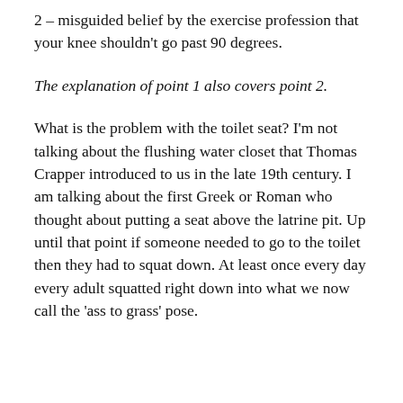2 – misguided belief by the exercise profession that your knee shouldn't go past 90 degrees.
The explanation of point 1 also covers point 2.
What is the problem with the toilet seat? I'm not talking about the flushing water closet that Thomas Crapper introduced to us in the late 19th century. I am talking about the first Greek or Roman who thought about putting a seat above the latrine pit. Up until that point if someone needed to go to the toilet then they had to squat down. At least once every day every adult squatted right down into what we now call the 'ass to grass' pose.